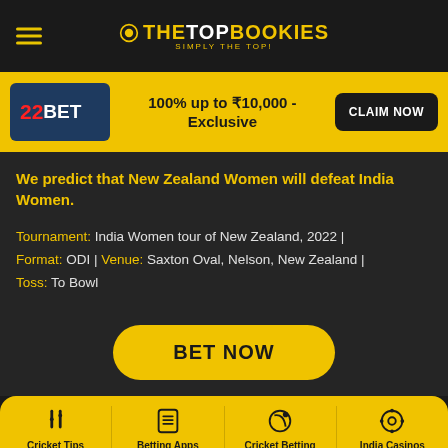THE TOP BOOKIES - SIMPLY THE TOP!
100% up to ₹10,000 - Exclusive
CLAIM NOW
We predict that New Zealand Women will defeat India Women.
Tournament: India Women tour of New Zealand, 2022 | Format: ODI | Venue: Saxton Oval, Nelson, New Zealand | Toss: To Bowl
BET NOW
Cricket Tips | Betting Apps | Cricket Betting | India Casinos